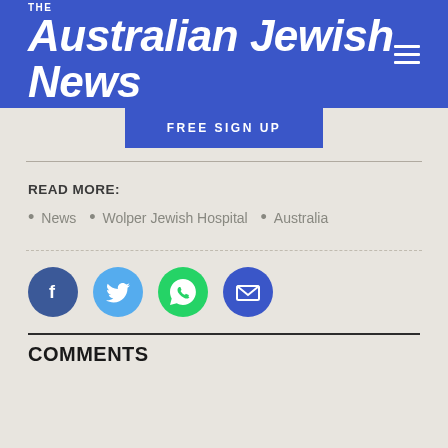THE Australian Jewish News
FREE SIGN UP
READ MORE:
News
Wolper Jewish Hospital
Australia
[Figure (other): Social sharing icons: Facebook, Twitter, WhatsApp, Email]
COMMENTS